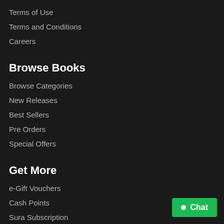Terms of Use
Terms and Conditions
Careers
Browse Books
Browse Categories
New Releases
Best Sellers
Pre Orders
Special Offers
Get More
e-Gift Vouchers
Cash Points
Sura Subscription
Chat